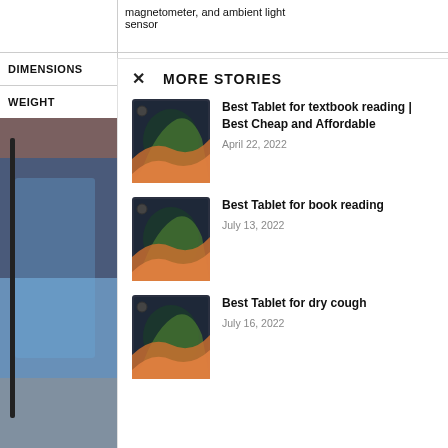|  |  |
| --- | --- |
|  | magnetometer, and ambient light sensor |
| DIMENSIONS |  |
| WEIGHT |  |
[Figure (photo): Partial photo of a tablet standing upright on a wooden surface, showing the screen edge and bezel]
MORE STORIES
[Figure (photo): Thumbnail of Xiaomi Pad 5 tablet with colorful gradient wallpaper]
Best Tablet for textbook reading | Best Cheap and Affordable
April 22, 2022
[Figure (photo): Thumbnail of Xiaomi Pad 5 tablet with colorful gradient wallpaper]
Best Tablet for book reading
July 13, 2022
[Figure (photo): Thumbnail of Xiaomi Pad 5 tablet with colorful gradient wallpaper]
Best Tablet for dry cough
July 16, 2022